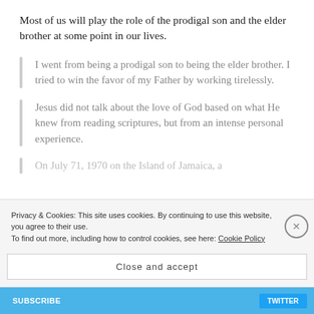Most of us will play the role of the prodigal son and the elder brother at some point in our lives.
I went from being a prodigal son to being the elder brother. I tried to win the favor of my Father by working tirelessly.
Jesus did not talk about the love of God based on what He knew from reading scriptures, but from an intense personal experience.
On July 71, 1970 on the Island of Jamaica, a
Privacy & Cookies: This site uses cookies. By continuing to use this website, you agree to their use. To find out more, including how to control cookies, see here: Cookie Policy
Close and accept